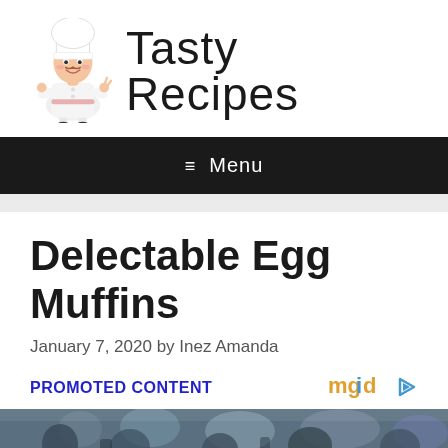[Figure (logo): Tasty Recipes logo with cartoon chef character and cursive site name]
≡  Menu
Delectable Egg Muffins
January 7, 2020 by Inez Amanda
PROMOTED CONTENT
[Figure (photo): Photo strip showing people in gym/fitness setting]